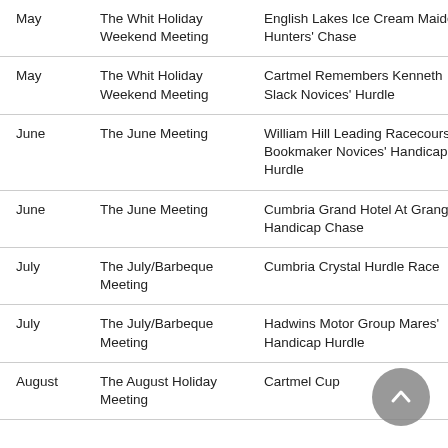| May | The Whit Holiday Weekend Meeting | English Lakes Ice Cream Maiden Hunters' Chase |
| May | The Whit Holiday Weekend Meeting | Cartmel Remembers Kenneth Slack Novices' Hurdle |
| June | The June Meeting | William Hill Leading Racecourse Bookmaker Novices' Handicap Hurdle |
| June | The June Meeting | Cumbria Grand Hotel At Grange Handicap Chase |
| July | The July/Barbeque Meeting | Cumbria Crystal Hurdle Race |
| July | The July/Barbeque Meeting | Hadwins Motor Group Mares' Handicap Hurdle |
| August | The August Holiday Meeting | Cartmel Cup |